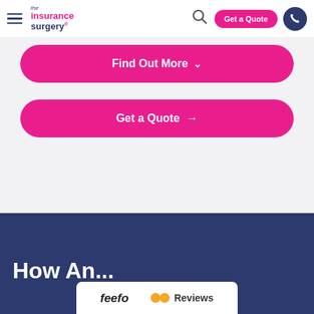the insurance surgery | Get a Quote | Search | Phone
Find Out More
Get a Quote
How An...
[Figure (logo): Feefo Reviews badge with two orange dots]